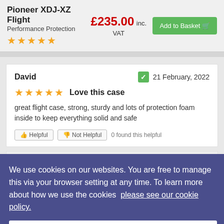Pioneer XDJ-XZ Flight Performance Protection
£235.00 inc. VAT
Add to Basket
David — 21 February, 2022
Love this case
great flight case, strong, sturdy and lots of protection foam inside to keep everything solid and safe
Helpful | Not Helpful | 0 found this helpful
We use cookies on our websites. You are free to manage this via your browser setting at any time. To learn more about how we use the cookies please see our cookie policy.
Close